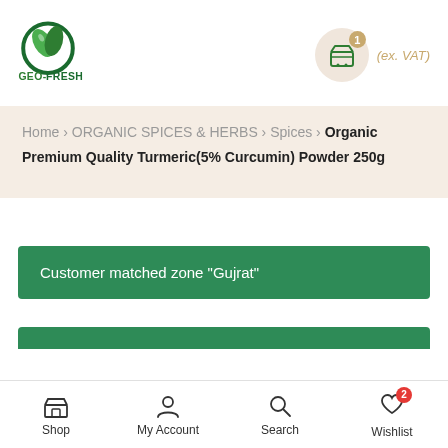[Figure (logo): GEO-FRESH logo with green circular leaf design and text GEO-FRESH]
(ex. VAT)
Home > ORGANIC SPICES & HERBS > Spices > Organic Premium Quality Turmeric(5% Curcumin) Powder 250g
Customer matched zone "Gujrat"
Shop  My Account  Search  Wishlist